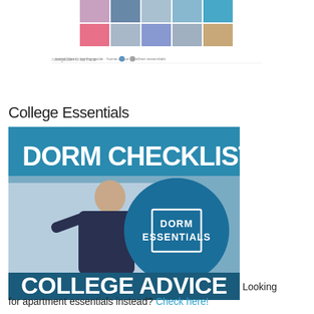[Figure (photo): Top strip with grid of small photos (travel/seasons) and navigation dots/links below]
College Essentials
[Figure (infographic): Dorm Checklist - College Advice infographic showing a young man in a dorm room, with a teal circle overlay reading DORM ESSENTIALS, bold white text DORM CHECKLIST at top and COLLEGE ADVICE at bottom]
Looking for apartment essentials instead? Check here!